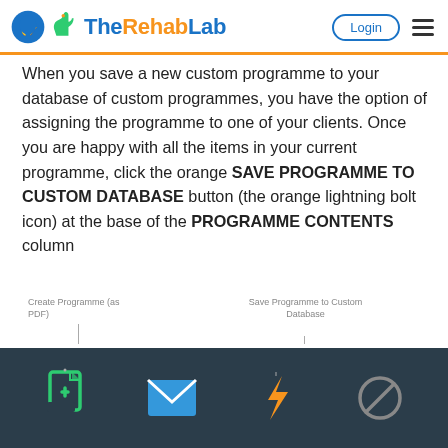TheRehabLab — Login
When you save a new custom programme to your database of custom programmes, you have the option of assigning the programme to one of your clients. Once you are happy with all the items in your current programme, click the orange SAVE PROGRAMME TO CUSTOM DATABASE button (the orange lightning bolt icon) at the base of the PROGRAMME CONTENTS column
[Figure (screenshot): Dark toolbar showing four icons: Create Programme (as PDF) icon (green document with plus), an email/envelope icon (blue), Save Programme to Custom Database icon (orange lightning bolt), and a cancel/no icon (grey). Labels point to 'Create Programme (as PDF)' and 'Save Programme to Custom Database'.]